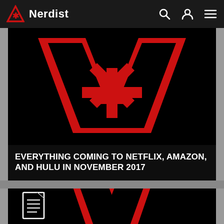Nerdist
[Figure (logo): Nerdist logo - red triangle warning sign with asterisk, white text 'Nerdist']
[Figure (illustration): Large Nerdist logo on black background - red geometric A-shape with asterisk in center]
EVERYTHING COMING TO NETFLIX, AMAZON, AND HULU IN NOVEMBER 2017
[Figure (illustration): Partial Nerdist logo on black background - red A-shape, partially visible, with document icon overlay]